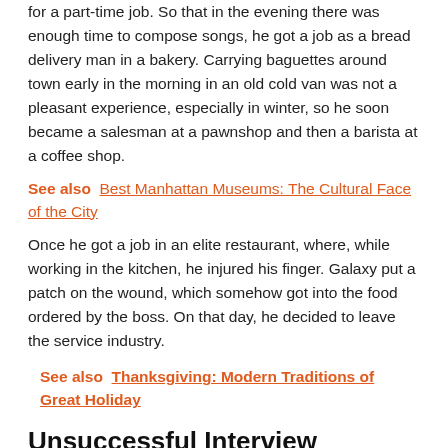for a part-time job. So that in the evening there was enough time to compose songs, he got a job as a bread delivery man in a bakery. Carrying baguettes around town early in the morning in an old cold van was not a pleasant experience, especially in winter, so he soon became a salesman at a pawnshop and then a barista at a coffee shop.
See also  Best Manhattan Museums: The Cultural Face of the City
Once he got a job in an elite restaurant, where, while working in the kitchen, he injured his finger. Galaxy put a patch on the wound, which somehow got into the food ordered by the boss. On that day, he decided to leave the service industry.
See also  Thanksgiving: Modern Traditions of Great Holiday
Unsuccessful Interview